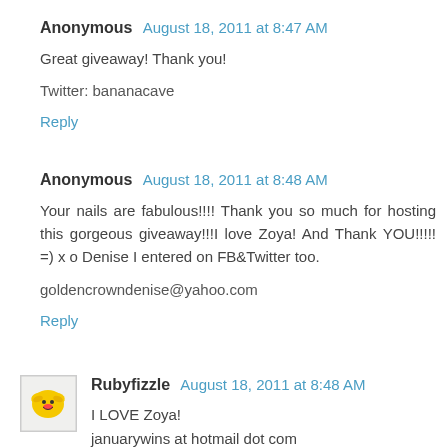Anonymous August 18, 2011 at 8:47 AM
Great giveaway! Thank you!
Twitter: bananacave
Reply
Anonymous August 18, 2011 at 8:48 AM
Your nails are fabulous!!!! Thank you so much for hosting this gorgeous giveaway!!!I love Zoya! And Thank YOU!!!!! =) x o Denise I entered on FB&Twitter too.
goldencrowndenise@yahoo.com
Reply
Rubyfizzle August 18, 2011 at 8:48 AM
I LOVE Zoya!
janijanuarywins at hotmail dot com